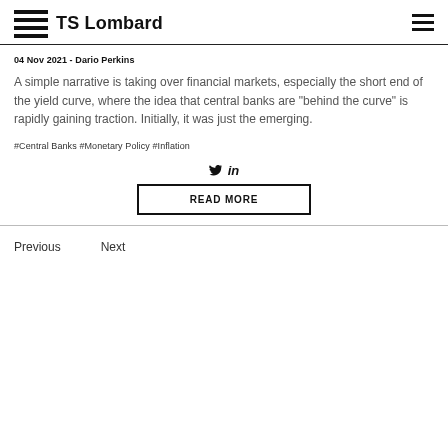TS Lombard
04 Nov 2021 - Dario Perkins
A simple narrative is taking over financial markets, especially the short end of the yield curve, where the idea that central banks are "behind the curve" is rapidly gaining traction. Initially, it was just the emerging.
#Central Banks #Monetary Policy #Inflation
READ MORE
Previous  Next